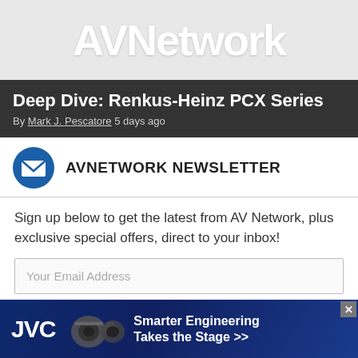AVNetwork
Deep Dive: Renkus-Heinz PCX Series
By Mark J. Pescatore 5 days ago
AVNETWORK NEWSLETTER
Sign up below to get the latest from AV Network, plus exclusive special offers, direct to your inbox!
Your Email Address
Contact me with news and offers from other Future brands
Receive email from us on behalf of our trusted partners or sponsors
[Figure (photo): JVC advertisement banner: Smarter Engineering Takes the Stage >>]